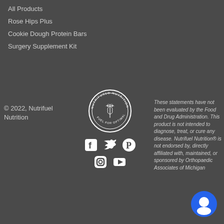All Products
Rose Hips Plus
Cookie Dough Protein Bars
Surgery Supplement Kit
© 2022, Nutrifuel Nutrition
[Figure (logo): Nutrifuel Nutrition circular logo with caduceus symbol]
[Figure (infographic): Social media icons: Facebook, Twitter, Pinterest, Instagram, YouTube]
These statements have not been evaluated by the Food and Drug Administration. This product is not intended to diagnose, treat, or cure any disease. Nutrifuel Nutrition® is not endorsed by, directly affiliated with, maintained, or sponsored by Orthopaedic Associates of Michigan